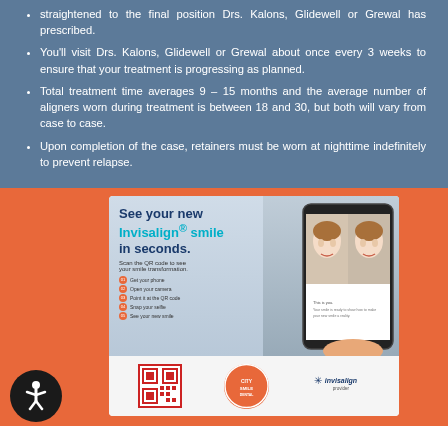straightened to the final position Drs. Kalons, Glidewell or Grewal has prescribed.
You'll visit Drs. Kalons, Glidewell or Grewal about once every 3 weeks to ensure that your treatment is progressing as planned.
Total treatment time averages 9 – 15 months and the average number of aligners worn during treatment is between 18 and 30, but both will vary from case to case.
Upon completion of the case, retainers must be worn at nighttime indefinitely to prevent relapse.
[Figure (infographic): Invisalign promotional advertisement showing 'See your new Invisalign smile in seconds' with a phone mockup showing before/after smile transformation, QR code, city smile logo, and Invisalign logo. Orange background with white card layout. Steps: Get your phone, Open your camera, Point it at the QR code, Snap your selfie, See your new smile.]